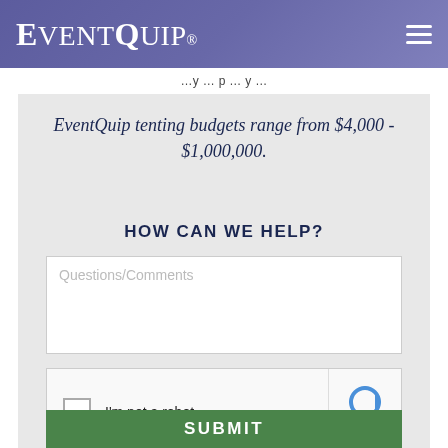EventQuip
EventQuip tenting budgets range from $4,000 - $1,000,000.
HOW CAN WE HELP?
Questions/Comments
[Figure (other): reCAPTCHA widget with checkbox labeled 'I'm not a robot' and reCAPTCHA logo with Privacy and Terms links]
SUBMIT